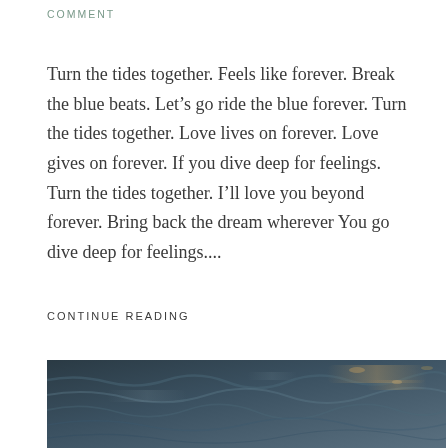COMMENT
Turn the tides together. Feels like forever. Break the blue beats. Let’s go ride the blue forever. Turn the tides together. Love lives on forever. Love gives on forever. If you dive deep for feelings. Turn the tides together. I’ll love you beyond forever. Bring back the dream wherever You go dive deep for feelings....
CONTINUE READING
[Figure (photo): Close-up of dark blue-grey water surface with ripples and light reflections]